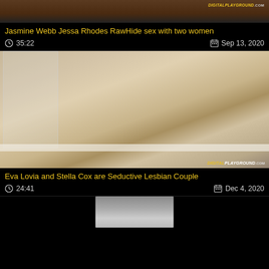[Figure (screenshot): Partial top thumbnail from video listing]
Jasmine Webb Jessa Rhodes RawHide sex with two women
35:22   Sep 13, 2020
[Figure (screenshot): Bathroom scene thumbnail with two women, Digital Playground watermark]
Eva Lovia and Stella Cox are Seductive Lesbian Couple
24:41   Dec 4, 2020
[Figure (screenshot): Partial bottom thumbnail]